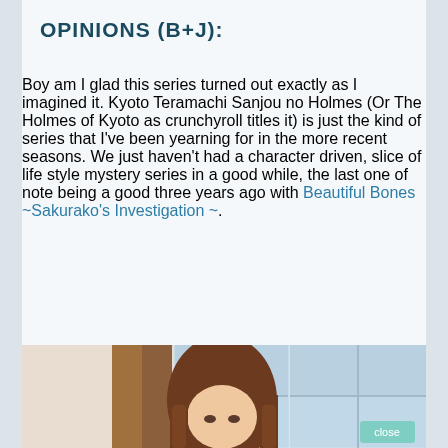OPINIONS (B+J):
Boy am I glad this series turned out exactly as I imagined it. Kyoto Teramachi Sanjou no Holmes (Or The Holmes of Kyoto as crunchyroll titles it) is just the kind of series that I've been yearning for in the more recent seasons. We just haven't had a character driven, slice of life style mystery series in a good while, the last one of note being a good three years ago with Beautiful Bones ~Sakurako's Investigation ~.
[Figure (photo): Anime screenshot showing a female character with long brown hair sitting indoors near a window, with a 'close' button visible in the lower right.]